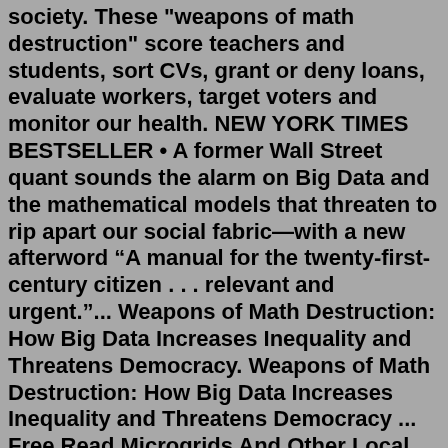society. These "weapons of math destruction" score teachers and students, sort CVs, grant or deny loans, evaluate workers, target voters and monitor our health. NEW YORK TIMES BESTSELLER • A former Wall Street quant sounds the alarm on Big Data and the mathematical models that threaten to rip apart our social fabric&mdash;with a new afterword&#160;&ldquo;A manual for the twenty-first-century citizen . . . relevant and urgent.&rdquo;... Weapons of Math Destruction: How Big Data Increases Inequality and Threatens Democracy. Weapons of Math Destruction: How Big Data Increases Inequality and Threatens Democracy ... Free Read Microgrids And Other Local Area Power And Energy Systems Audio CD PDF Read Microgrids And Other Local Area Power And Ener… Powered by Blogger 2021 3. April ...Cathy O'Neil – Weapons of Math Destruction Audiobook. Weapons of Math Destruction Audiobook Online. text. Designs are greater than simply math. Take a look at Amazon.com's variation over: while there are